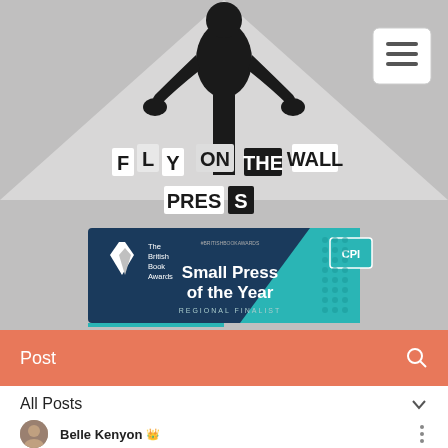[Figure (illustration): Fly on the Wall Press website header. Dark silhouette of a person/figure on grey background with a hamburger menu icon in top right. Collage-style text reads 'FLY ON THE WALL PRESS'. Below is a badge for 'The British Book Awards - Small Press of the Year - Regional Finalist' in dark teal and teal with CPI Group logo.]
Post
All Posts
Belle Kenyon 👑
May 30 · 2 min